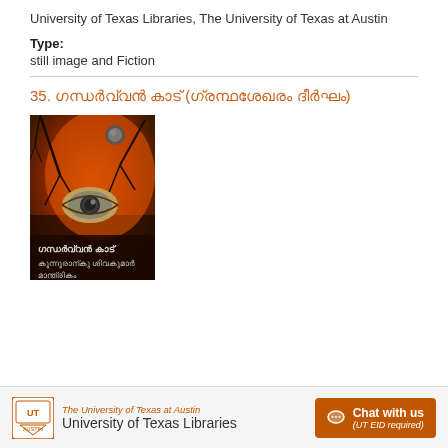University of Texas Libraries, The University of Texas at Austin
Type:
still image and Fiction
35. ഗന്ധർവ്വൻ കാട് (ഗ്രന്ഥശേഖരം ദീർഘം)
[Figure (photo): Book cover of 'ഗന്ധർവ്വൻ കാട്' showing an orange and dark artistic illustration with a large eye, bare tree branches, and Malayalam text at the bottom reading 'ഗന്ധർവ്വൻ കാട് കൂനൂരാനൂർ ശിവകുമാർ മാന്ത്രികം']
The University of Texas at Austin University of Texas Libraries  Chat with us (UT EID required)